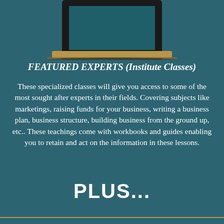[Figure (illustration): Laptop computer illustration at the top of the page, showing a laptop with a dark teal/green screen, black bezel, and gold/tan colored base, partially cut off at top]
FEATURED EXPERTS (Institute Classes)
These specialized classes will give you access to some of the most sought after experts in their fields. Covering subjects like marketings, raising funds for your business, writing a business plan, business structure, building business from the ground up, etc.. These teachings come with workbooks and guides enabling you to retain and act on the information in these lessons.
PLUS...